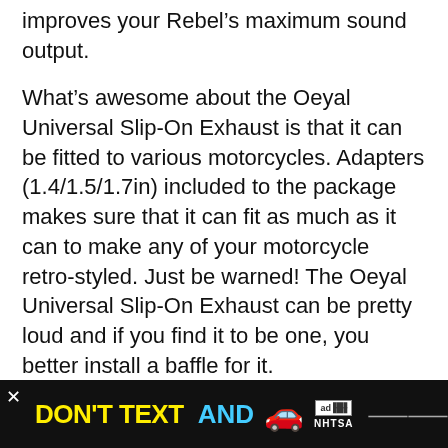improves your Rebel's maximum sound output.
What's awesome about the Oeyal Universal Slip-On Exhaust is that it can be fitted to various motorcycles. Adapters (1.4/1.5/1.7in) included to the package makes sure that it can fit as much as it can to make any of your motorcycle retro-styled. Just be warned! The Oeyal Universal Slip-On Exhaust can be pretty loud and if you find it to be one, you better install a baffle for it.
[Figure (other): Gray box placeholder for an image or content block]
[Figure (infographic): Black advertisement banner: 'DON'T TEXT AND' in yellow and cyan text with a red car emoji and NHTSA ad logo, close button and W logo on right side]